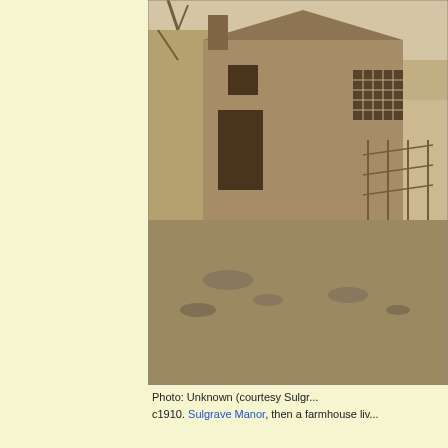[Figure (photo): Sepia photograph c1910 of Sulgrave Manor exterior, showing a stone farmhouse building with a large chimney, lattice windows, and overgrown grounds in winter]
Photo: Unknown (courtesy Sulgr... c1910. Sulgrave Manor, then a farmhouse liv...
[Figure (photo): Sepia interior photograph of Sulgrave Manor showing a large ornate wooden fireplace mantelpiece with various figurines, a clock, candles, and decorative items displayed on the shelf. A person is seated near the fireplace examining it.]